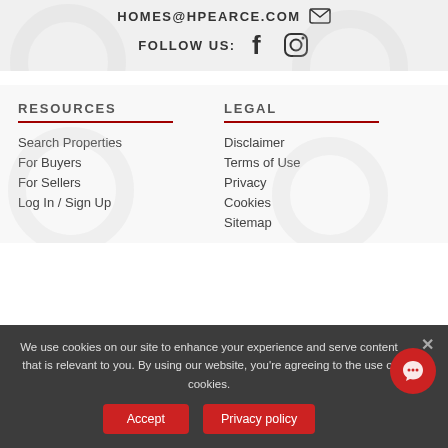HOMES@HPEARCE.COM
FOLLOW US:
RESOURCES
Search Properties
For Buyers
For Sellers
Log In / Sign Up
LEGAL
Disclaimer
Terms of Use
Privacy
Cookies
Sitemap
We use cookies on our site to enhance your experience and serve content that is relevant to you. By using our website, you're agreeing to the use of cookies.